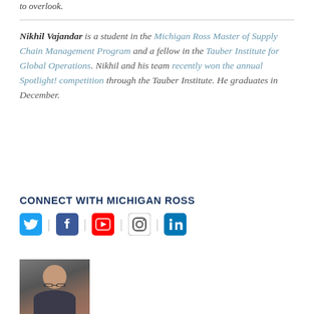to overlook.
Nikhil Vajandar is a student in the Michigan Ross Master of Supply Chain Management Program and a fellow in the Tauber Institute for Global Operations. Nikhil and his team recently won the annual Spotlight! competition through the Tauber Institute. He graduates in December.
CONNECT WITH MICHIGAN ROSS
[Figure (infographic): Social media icons row: Twitter (blue bird), Facebook (blue F), YouTube (red play button), Instagram (camera outline), LinkedIn (blue in)]
[Figure (photo): Headshot photo of Nikhil Vajandar, a young man with glasses, smiling, wearing a dark suit jacket]